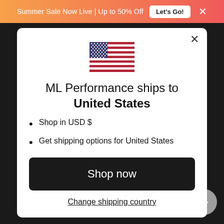Summer Sale Now Live | Up to 50% Off  Let's Go!  ×
[Figure (illustration): US flag SVG illustration]
ML Performance ships to United States
Shop in USD $
Get shipping options for United States
Shop now
Change shipping country